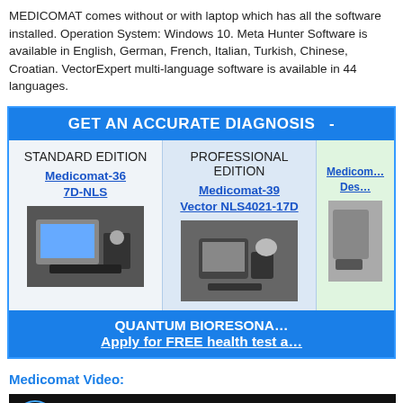MEDICOMAT comes without or with laptop which has all the software installed. Operation System: Windows 10. Meta Hunter Software is available in English, German, French, Italian, Turkish, Chinese, Croatian. VectorExpert multi-language software is available in 44 languages.
[Figure (infographic): Product comparison banner with blue header 'GET AN ACCURATE DIAGNOSIS', three product columns: Standard Edition (Medicomat-36, 7D-NLS), Professional Edition (Medicomat-39, Vector NLS4021-17D), and a third partially visible column. Blue footer with QUANTUM BIORESONANCE and Apply for FREE health test link.]
Medicomat Video:
[Figure (screenshot): Video thumbnail showing dark background with Medicomat logo/icon and partial text 'Quantum Headset on Medicomat Cloud Health']